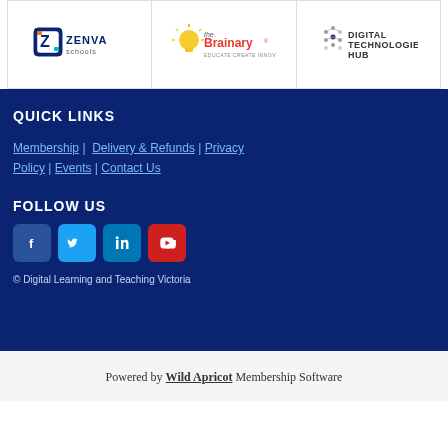[Figure (logo): Three partner logos: Zenva Schools, The Brainary (Educate Create Innovate), Digital Technologies Hub]
QUICK LINKS
Membership | Delivery & Refunds | Privacy Policy | Events | Contact Us
FOLLOW US
[Figure (other): Social media icons: Facebook, Twitter, LinkedIn, YouTube]
© Digital Learning and Teaching Victoria
Powered by Wild Apricot Membership Software